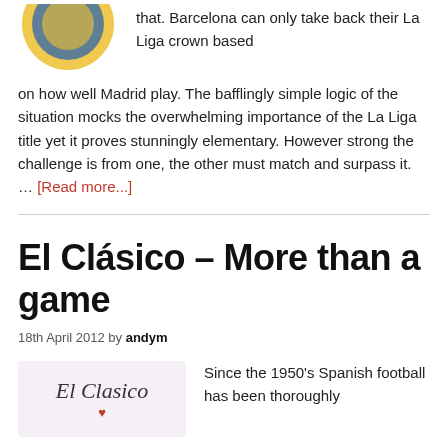[Figure (logo): Circular logo with yellow and blue colors, partially visible at top left]
that. Barcelona can only take back their La Liga crown based on how well Madrid play. The bafflingly simple logic of the situation mocks the overwhelming importance of the La Liga title yet it proves stunningly elementary. However strong the challenge is from one, the other must match and surpass it. … [Read more...]
El Clásico – More than a game
18th April 2012 by andym
[Figure (logo): El Clasico script logo with decorative text on light purple/pink background]
Since the 1950's Spanish football has been thoroughly